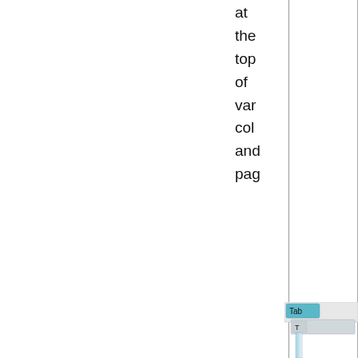at the top of var col and pag
[Figure (screenshot): A UI screenshot showing a tabbed panel with 'Tab' label visible and a nested panel with 'T' label, with a vertical blue-green gradient bar extending downward]